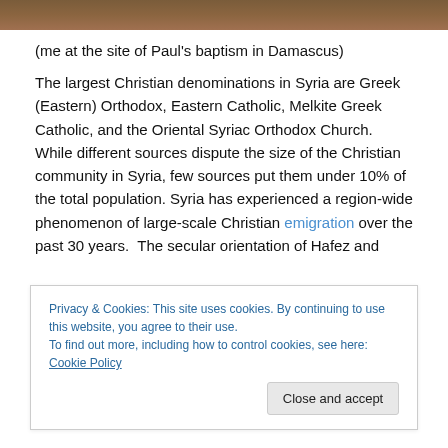[Figure (photo): Top strip of a photograph, showing warm brown/tan tones, appears to be a photo of a person at a historical site in Damascus.]
(me at the site of Paul's baptism in Damascus)
The largest Christian denominations in Syria are Greek (Eastern) Orthodox, Eastern Catholic, Melkite Greek Catholic, and the Oriental Syriac Orthodox Church. While different sources dispute the size of the Christian community in Syria, few sources put them under 10% of the total population. Syria has experienced a region-wide phenomenon of large-scale Christian emigration over the past 30 years.  The secular orientation of Hafez and
Privacy & Cookies: This site uses cookies. By continuing to use this website, you agree to their use.
To find out more, including how to control cookies, see here: Cookie Policy
[Close and accept]